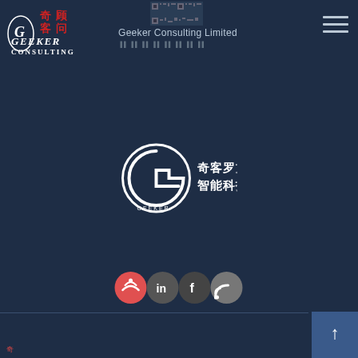[Figure (logo): Geeker Consulting logo with Chinese characters 奇顾客问 and GEEKER CONSULTING text in red and white]
[Figure (other): QR code image at top center]
Geeker Consulting Limited
奇客罗方智能科技 (Geeker logo with white circular G symbol and Chinese text)
[Figure (logo): Center logo: white circular Geeker emblem with 奇客罗方 智能科技 Chinese text]
[Figure (infographic): Row of 4 social media icon buttons: Weibo, LinkedIn, Facebook, RSS feed]
[Figure (other): Scroll-to-top arrow button at bottom right]